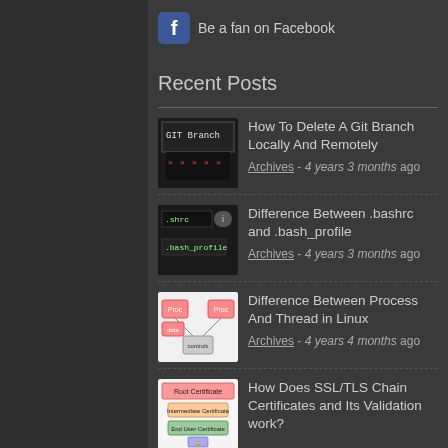Be a fan on Facebook
Recent Posts
How To Delete A Git Branch Locally And Remotely
Archives - 4 years 3 months ago
Difference Between .bashrc and .bash_profile
Archives - 4 years 3 months ago
Difference Between Process And Thread in Linux
Archives - 4 years 4 months ago
How Does SSL/TLS Chain Certificates and Its Validation work?